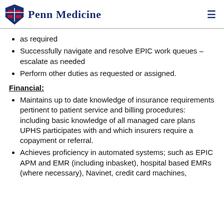Penn Medicine
as required
Successfully navigate and resolve EPIC work queues – escalate as needed
Perform other duties as requested or assigned.
Financial:
Maintains up to date knowledge of insurance requirements pertinent to patient service and billing procedures: including basic knowledge of all managed care plans UPHS participates with and which insurers require a copayment or referral.
Achieves proficiency in automated systems; such as EPIC APM and EMR (including inbasket), hospital based EMRs (where necessary), Navinet, credit card machines,